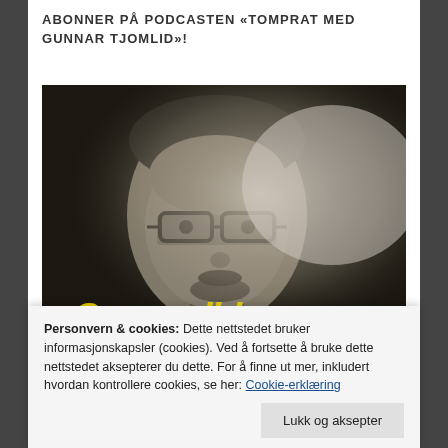ABONNER PÅ PODCASTEN «TOMPRAT MED GUNNAR TJOMLID»!
[Figure (photo): Black and white portrait photo of a man with glasses, short hair and beard, partially obscured by a white foggy overlay. Yellow stylized text visible at the bottom of the image.]
Personvern & cookies: Dette nettstedet bruker informasjonskapsler (cookies). Ved å fortsette å bruke dette nettstedet aksepterer du dette. For å finne ut mer, inkludert hvordan kontrollere cookies, se her: Cookie-erklæring
Lukk og aksepter